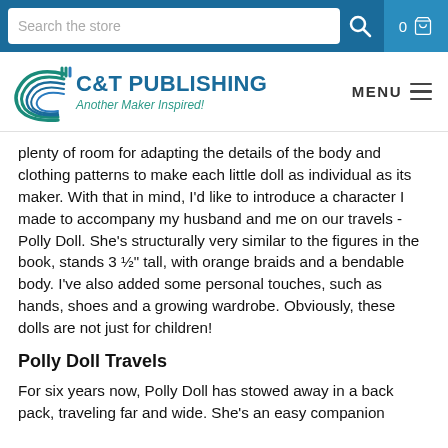Search the store | 0 [cart]
[Figure (logo): C&T Publishing logo with stylized C graphic and text 'C&T PUBLISHING — Another Maker Inspired!']
plenty of room for adapting the details of the body and clothing patterns to make each little doll as individual as its maker. With that in mind, I'd like to introduce a character I made to accompany my husband and me on our travels - Polly Doll. She's structurally very similar to the figures in the book, stands 3 ½" tall, with orange braids and a bendable body. I've also added some personal touches, such as hands, shoes and a growing wardrobe. Obviously, these dolls are not just for children!
Polly Doll Travels
For six years now, Polly Doll has stowed away in a back pack, traveling far and wide. She's an easy companion